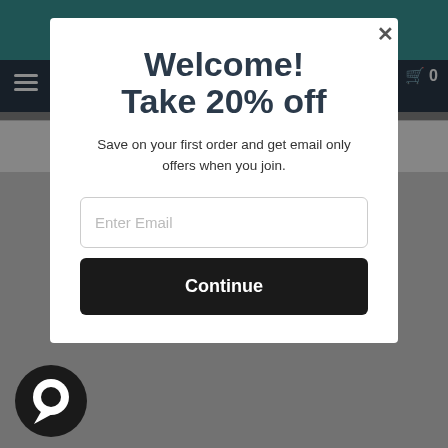Welcome! Take 20% off
Save on your first order and get email only offers when you join.
Enter Email
Continue